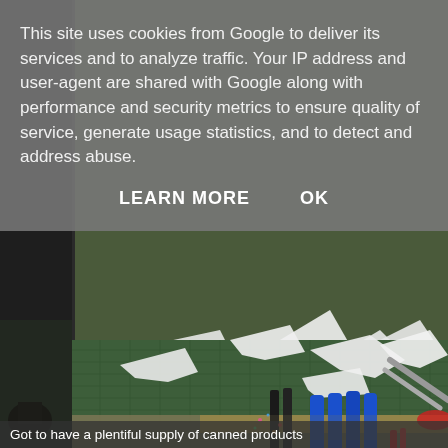This site uses cookies from Google to deliver its services and to analyze traffic. Your IP address and user-agent are shared with Google along with performance and security metrics to ensure quality of service, generate usage statistics, and to detect and address abuse.
LEARN MORE    OK
[Figure (photo): A crafting workspace with a green cutting mat, a white mug with 'SPORTS.COM' text, scattered white foam/styrene pieces, blue-handled tools (brushes/pens), scissors, and various craft supplies. A partial view of a grey background is on the left side.]
Got to have a plentiful supply of canned products